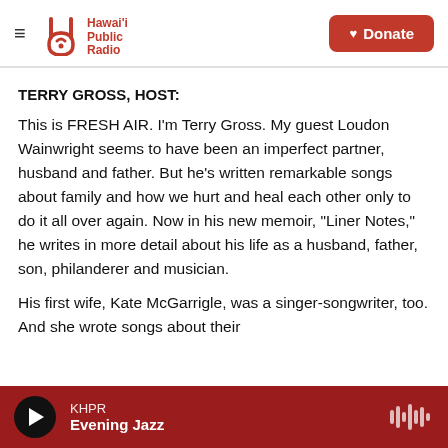Hawai'i Public Radio | Donate
TERRY GROSS, HOST:
This is FRESH AIR. I'm Terry Gross. My guest Loudon Wainwright seems to have been an imperfect partner, husband and father. But he's written remarkable songs about family and how we hurt and heal each other only to do it all over again. Now in his new memoir, "Liner Notes," he writes in more detail about his life as a husband, father, son, philanderer and musician.
His first wife, Kate McGarrigle, was a singer-songwriter, too. And she wrote songs about their
KHPR Evening Jazz